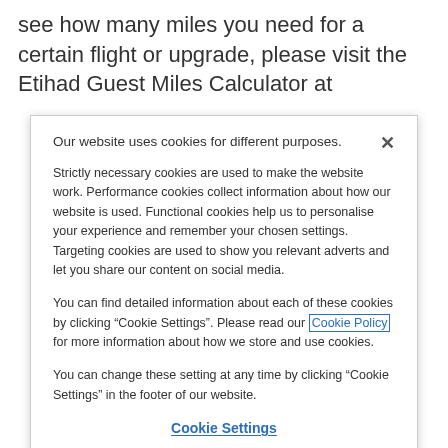see how many miles you need for a certain flight or upgrade, please visit the Etihad Guest Miles Calculator at
Our website uses cookies for different purposes.
Strictly necessary cookies are used to make the website work. Performance cookies collect information about how our website is used. Functional cookies help us to personalise your experience and remember your chosen settings. Targeting cookies are used to show you relevant adverts and let you share our content on social media.
You can find detailed information about each of these cookies by clicking “Cookie Settings”. Please read our Cookie Policy for more information about how we store and use cookies.
You can change these setting at any time by clicking “Cookie Settings” in the footer of our website.
Cookie Settings